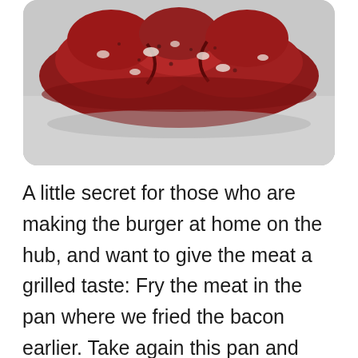[Figure (photo): Raw seasoned ground beef patty shaped flat on a light gray surface, viewed from above, showing red meat with white fat specks and spices.]
A little secret for those who are making the burger at home on the hub, and want to give the meat a grilled taste: Fry the meat in the pan where we fried the bacon earlier. Take again this pan and remove from it the excess fats but don't clean at all the pan. Now put our